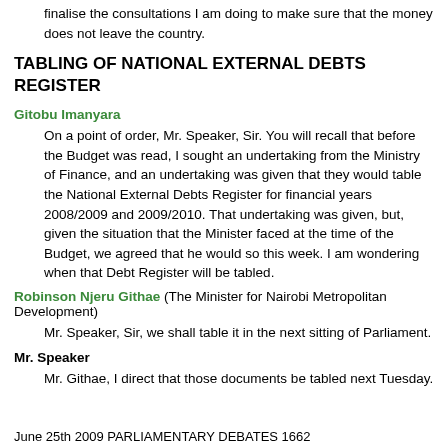finalise the consultations I am doing to make sure that the money does not leave the country.
TABLING OF NATIONAL EXTERNAL DEBTS REGISTER
Gitobu Imanyara
On a point of order, Mr. Speaker, Sir. You will recall that before the Budget was read, I sought an undertaking from the Ministry of Finance, and an undertaking was given that they would table the National External Debts Register for financial years 2008/2009 and 2009/2010. That undertaking was given, but, given the situation that the Minister faced at the time of the Budget, we agreed that he would so this week. I am wondering when that Debt Register will be tabled.
Robinson Njeru Githae (The Minister for Nairobi Metropolitan Development)
Mr. Speaker, Sir, we shall table it in the next sitting of Parliament.
Mr. Speaker
Mr. Githae, I direct that those documents be tabled next Tuesday.
June 25th 2009 PARLIAMENTARY DEBATES 1662